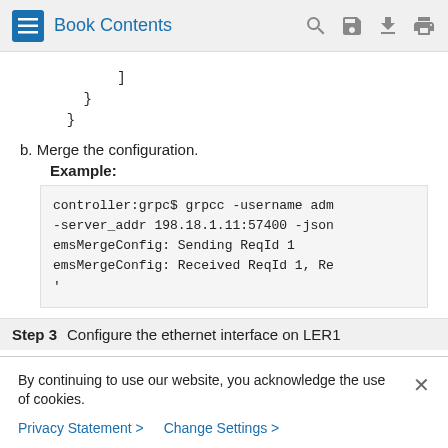Book Contents
]
    }
  }
b. Merge the configuration.
Example:
controller:grpc$ grpcc -username adm
-server_addr 198.18.1.11:57400 -json
emsMergeConfig: Sending ReqId 1
emsMergeConfig: Received ReqId 1, Re
'
Step 3  Configure the ethernet interface on LER1
By continuing to use our website, you acknowledge the use of cookies.
Privacy Statement >   Change Settings >